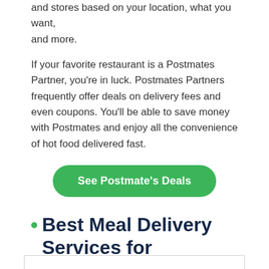and stores based on your location, what you want, and more.
If your favorite restaurant is a Postmates Partner, you're in luck. Postmates Partners frequently offer deals on delivery fees and even coupons. You'll be able to save money with Postmates and enjoy all the convenience of hot food delivered fast.
See Postmate's Deals
Best Meal Delivery Services for Oklahoma City: Comparison Table